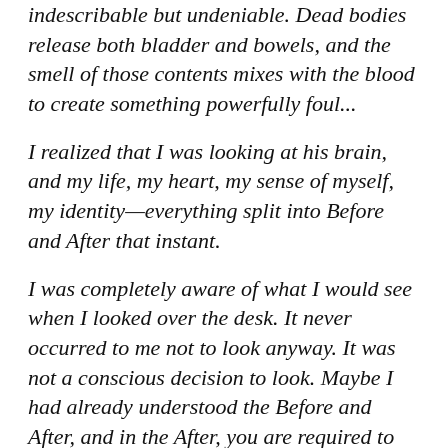indescribable but undeniable. Dead bodies release both bladder and bowels, and the smell of those contents mixes with the blood to create something powerfully foul...
I realized that I was looking at his brain, and my life, my heart, my sense of myself, my identity—everything split into Before and After that instant.
I was completely aware of what I would see when I looked over the desk. It never occurred to me not to look anyway. It was not a conscious decision to look. Maybe I had already understood the Before and After, and in the After, you are required to accept reality.
You are required to know, to see, to smell, to be in the world where this is real, and this is what really